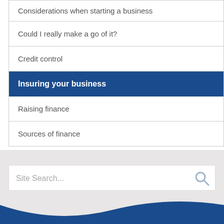Considerations when starting a business
Could I really make a go of it?
Credit control
Insuring your business
Raising finance
Sources of finance
Site Search...